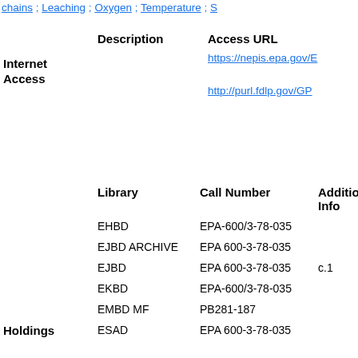chains ; Leaching ; Oxygen ; Temperature ; S…
|  | Description | Access URL |
| --- | --- | --- |
| Internet Access |  | https://nepis.epa.gov/E… |
|  |  | http://purl.fdlp.gov/GP… |
|  | Library | Call Number | Additional Info |
| --- | --- | --- | --- |
|  | EHBD | EPA-600/3-78-035 |  |
|  | EJBD ARCHIVE | EPA 600-3-78-035 |  |
|  | EJBD | EPA 600-3-78-035 | c.1 |
|  | EKBD | EPA-600/3-78-035 |  |
|  | EMBD MF | PB281-187 |  |
| Holdings | ESAD | EPA 600-3-78-035 |  |